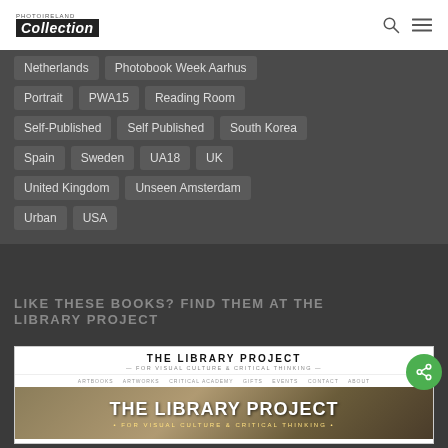PHOTOIRELAND Collection
Netherlands
Photobook Week Aarhus
Portrait
PWA15
Reading Room
Self-Published
Self Published
South Korea
Spain
Sweden
UA18
UK
United Kingdom
Unseen Amsterdam
Urban
USA
LIKE THESE BOOKS? FIND THEM AT THE LIBRARY PROJECT
[Figure (screenshot): Screenshot of The Library Project website homepage showing the site header, navigation bar, and hero banner with text 'THE LIBRARY PROJECT • FOR VISUAL CULTURE & CRITICAL THINKING •']